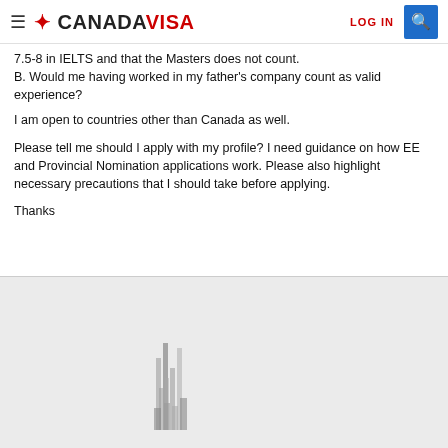CANADA VISA — LOG IN
7.5-8 in IELTS and that the Masters does not count.
B. Would me having worked in my father's company count as valid experience?
I am open to countries other than Canada as well.
Please tell me should I apply with my profile? I need guidance on how EE and Provincial Nomination applications work. Please also highlight necessary precautions that I should take before applying.
Thanks
[Figure (other): Partial bar chart graphic visible at the bottom of the page on a light grey background]